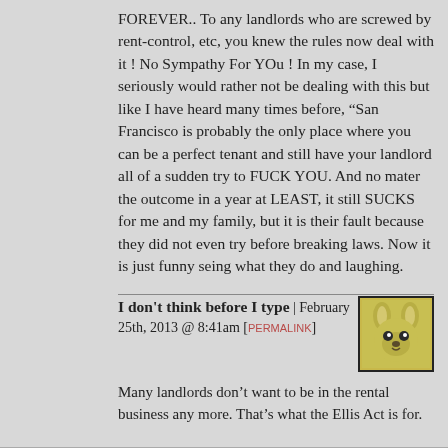FOREVER.. To any landlords who are screwed by rent-control, etc, you knew the rules now deal with it ! No Sympathy For YOu ! In my case, I seriously would rather not be dealing with this but like I have heard many times before, “San Francisco is probably the only place where you can be a perfect tenant and still have your landlord all of a sudden try to FUCK YOU. And no mater the outcome in a year at LEAST, it still SUCKS for me and my family, but it is their fault because they did not even try before breaking laws. Now it is just funny seing what they do and laughing.
I don't think before I type | February 25th, 2013 @ 8:41am [PERMALINK]
Many landlords don’t want to be in the rental business any more. That’s what the Ellis Act is for.